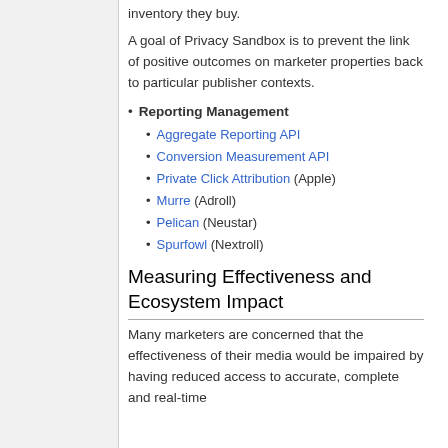inventory they buy.
A goal of Privacy Sandbox is to prevent the link of positive outcomes on marketer properties back to particular publisher contexts.
Reporting Management
Aggregate Reporting API
Conversion Measurement API
Private Click Attribution (Apple)
Murre (Adroll)
Pelican (Neustar)
Spurfowl (Nextroll)
Measuring Effectiveness and Ecosystem Impact
Many marketers are concerned that the effectiveness of their media would be impaired by having reduced access to accurate, complete and real-time